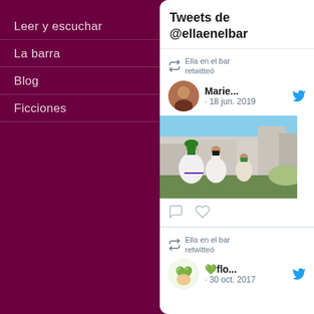Leer y escuchar
La barra
Blog
Ficciones
Tweets de @ellaenelbar
Ella en el bar retwitteó
Marie... · 18 jun. 2019
[Figure (photo): Women in white skirts dancing at an outdoor event, green clothing visible]
Ella en el bar retwitteó
💚flo... · 30 oct. 2017